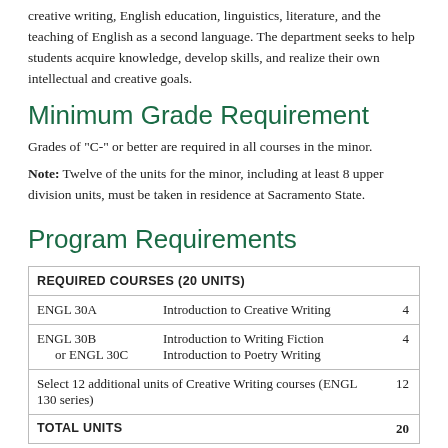creative writing, English education, linguistics, literature, and the teaching of English as a second language. The department seeks to help students acquire knowledge, develop skills, and realize their own intellectual and creative goals.
Minimum Grade Requirement
Grades of "C-" or better are required in all courses in the minor.
Note: Twelve of the units for the minor, including at least 8 upper division units, must be taken in residence at Sacramento State.
Program Requirements
|  |  |  |
| --- | --- | --- |
| REQUIRED COURSES (20 UNITS) |  |  |
| ENGL 30A | Introduction to Creative Writing | 4 |
| ENGL 30B | Introduction to Writing Fiction | 4 |
| or ENGL 30C | Introduction to Poetry Writing |  |
| Select 12 additional units of Creative Writing courses (ENGL 130 series) |  | 12 |
| TOTAL UNITS |  | 20 |